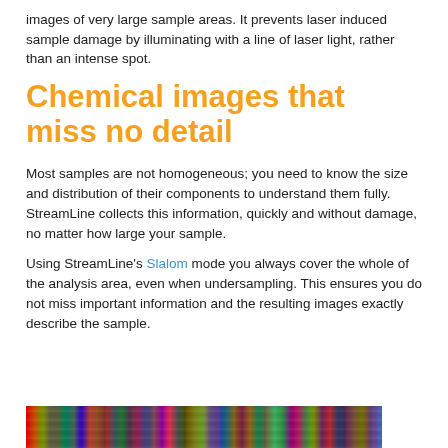images of very large sample areas. It prevents laser induced sample damage by illuminating with a line of laser light, rather than an intense spot.
Chemical images that miss no detail
Most samples are not homogeneous; you need to know the size and distribution of their components to understand them fully. StreamLine collects this information, quickly and without damage, no matter how large your sample.
Using StreamLine's Slalom mode you always cover the whole of the analysis area, even when undersampling. This ensures you do not miss important information and the resulting images exactly describe the sample.
[Figure (photo): Colorful chemical imaging strip showing multicolor spectral map of a sample surface]